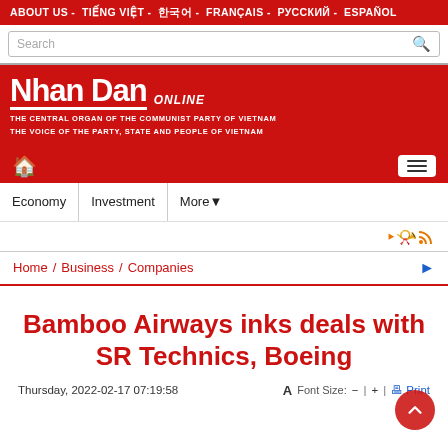ABOUT US - TIẾNG VIỆT - 한국어 - FRANÇAIS - РУССКИЙ - ESPAÑOL
[Figure (logo): Nhan Dan Online logo - The Central Organ of the Communist Party of Vietnam, The Voice of the Party, State and People of Vietnam]
Economy | Investment | More
Home / Business / Companies
Bamboo Airways inks deals with SR Technics, Boeing
Thursday, 2022-02-17 07:19:58   A Font Size: − | + Print